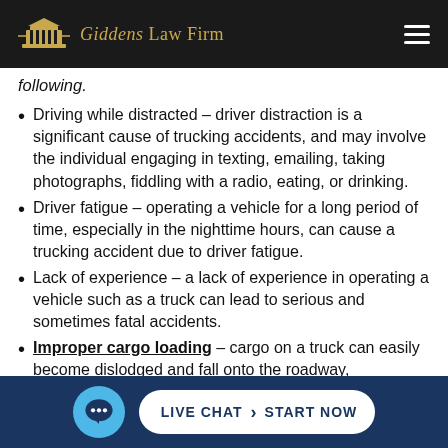Giddens Law Firm
following.
Driving while distracted – driver distraction is a significant cause of trucking accidents, and may involve the individual engaging in texting, emailing, taking photographs, fiddling with a radio, eating, or drinking.
Driver fatigue – operating a vehicle for a long period of time, especially in the nighttime hours, can cause a trucking accident due to driver fatigue.
Lack of experience – a lack of experience in operating a vehicle such as a truck can lead to serious and sometimes fatal accidents.
Improper cargo loading – cargo on a truck can easily become dislodged and fall onto the roadway,
LIVE CHAT › START NOW